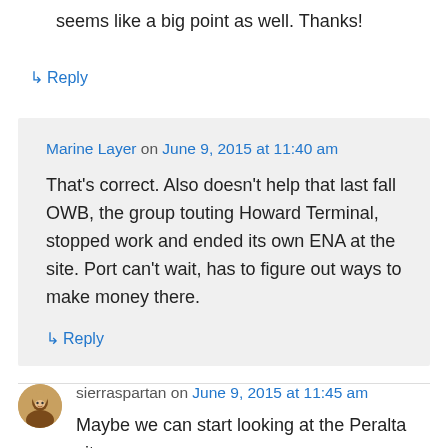seems like a big point as well. Thanks!
↳ Reply
Marine Layer on June 9, 2015 at 11:40 am
That's correct. Also doesn't help that last fall OWB, the group touting Howard Terminal, stopped work and ended its own ENA at the site. Port can't wait, has to figure out ways to make money there.
↳ Reply
sierraspartan on June 9, 2015 at 11:45 am
Maybe we can start looking at the Peralta site